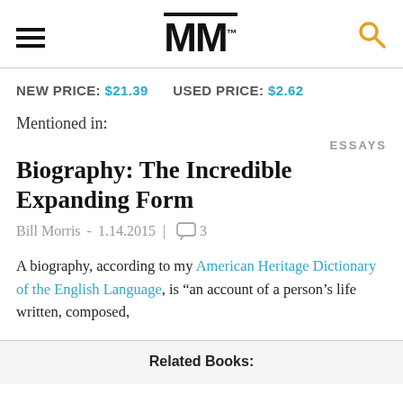MM
NEW PRICE: $21.39   USED PRICE: $2.62
Mentioned in:
ESSAYS
Biography: The Incredible Expanding Form
Bill Morris - 1.14.2015 | 3
A biography, according to my American Heritage Dictionary of the English Language, is “an account of a person’s life written, composed,
Related Books: